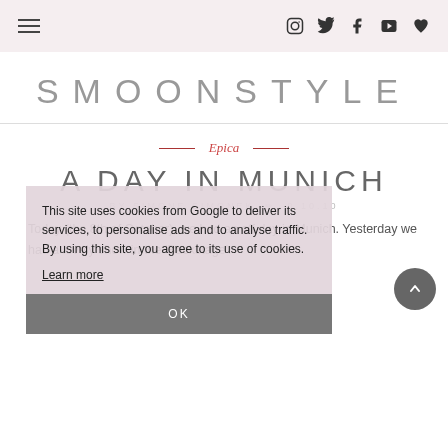SMOONSTYLE — navigation bar with hamburger menu and social icons (Instagram, Twitter, Facebook, YouTube, heart)
SMOONSTYLE
Epica
A DAY IN MUNICH
BY SIMONE SIMONEK · 0.10.10
This site uses cookies from Google to deliver its services, to personalise ads and to analyse traffic. By using this site, you agree to its use of cookies.
Learn more
OK
Today (the 8th of October), we had an off day in Munich. Yesterday we had a lovely show in the 'Backstage'.